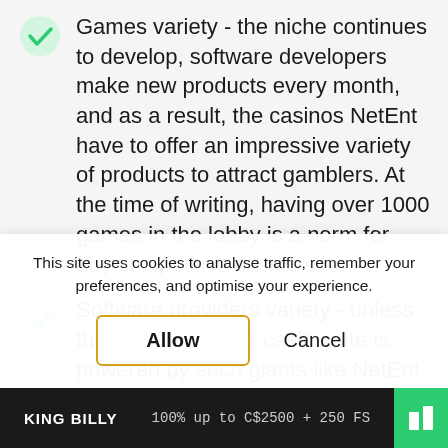Games variety - the niche continues to develop, software developers make new products every month, and as a result, the casinos NetEnt have to offer an impressive variety of products to attract gamblers. At the time of writing, having over 1000 games in the lobby is a norm for any competitive casino site.
Software providers variety - unless the single-provider casino site is powered by such giants like NetEnt or Microgaming (which is still a very rare thing), casino sites powered
This site uses cookies to analyse traffic, remember your preferences, and optimise your experience.
Allow   Cancel
KING BILLY   100% up to C$2500 + 250 FS